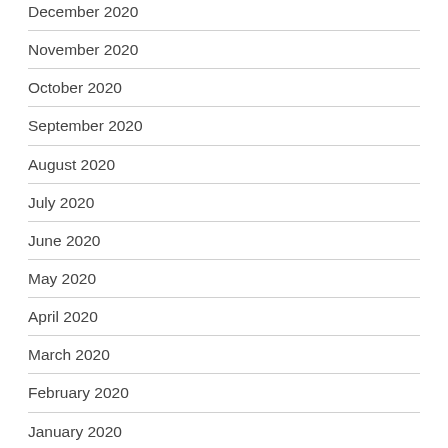December 2020
November 2020
October 2020
September 2020
August 2020
July 2020
June 2020
May 2020
April 2020
March 2020
February 2020
January 2020
November 2019
October 2019